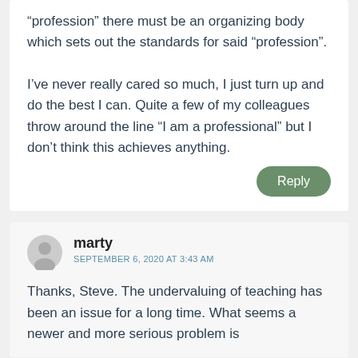“profession” there must be an organizing body which sets out the standards for said “profession”.

I’ve never really cared so much, I just turn up and do the best I can. Quite a few of my colleagues throw around the line “I am a professional” but I don’t think this achieves anything.
Reply
marty
SEPTEMBER 6, 2020 AT 3:43 AM
Thanks, Steve. The undervaluing of teaching has been an issue for a long time. What seems a newer and more serious problem is